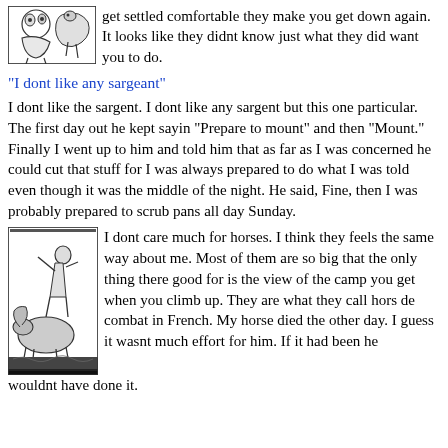[Figure (illustration): Small cartoon illustration of a person or animal figure, positioned top-left]
get settled comfortable they make you get down again. It looks like they didnt know just what they did want you to do.
"I dont like any sargeant"
I dont like the sargent. I dont like any sargent but this one particular. The first day out he kept sayin "Prepare to mount" and then "Mount." Finally I went up to him and told him that as far as I was concerned he could cut that stuff for I was always prepared to do what I was told even though it was the middle of the night. He said, Fine, then I was probably prepared to scrub pans all day Sunday.
[Figure (illustration): Cartoon illustration of a person on or near a horse, positioned bottom-left]
I dont care much for horses. I think they feels the same way about me. Most of them are so big that the only thing there good for is the view of the camp you get when you climb up. They are what they call hors de combat in French. My horse died the other day. I guess it wasnt much effort for him. If it had been he wouldnt have done it.